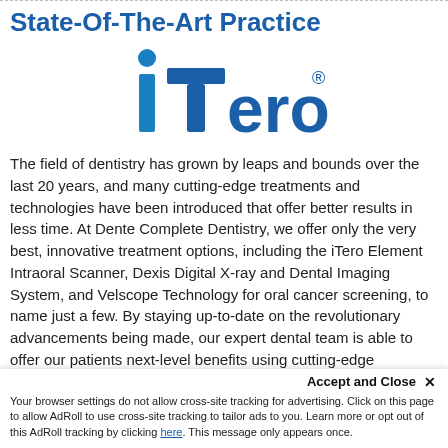State-Of-The-Art Practice
[Figure (logo): iTero logo in blue with registered trademark symbol]
The field of dentistry has grown by leaps and bounds over the last 20 years, and many cutting-edge treatments and technologies have been introduced that offer better results in less time. At Dente Complete Dentistry, we offer only the very best, innovative treatment options, including the iTero Element Intraoral Scanner, Dexis Digital X-ray and Dental Imaging System, and Velscope Technology for oral cancer screening, to name just a few. By staying up-to-date on the revolutionary advancements being made, our expert dental team is able to offer our patients next-level benefits using cutting-edge solutions.
Accept and Close ×
Your browser settings do not allow cross-site tracking for advertising. Click on this page to allow AdRoll to use cross-site tracking to tailor ads to you. Learn more or opt out of this AdRoll tracking by clicking here. This message only appears once.